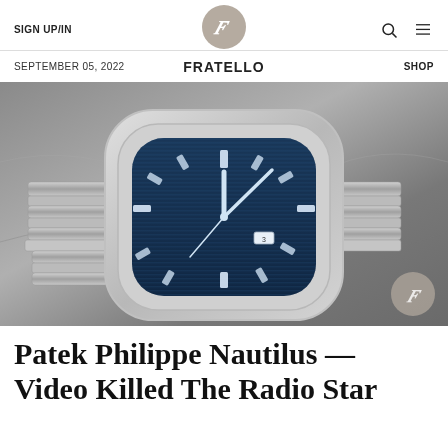SIGN UP/IN  FRATELLO  SEPTEMBER 05, 2022  SHOP
[Figure (photo): Close-up photograph of a Patek Philippe Nautilus watch with blue horizontal-striped dial, stainless steel integrated bracelet, and octagonal bezel, resting on gray fabric]
Patek Philippe Nautilus — Video Killed The Radio Star